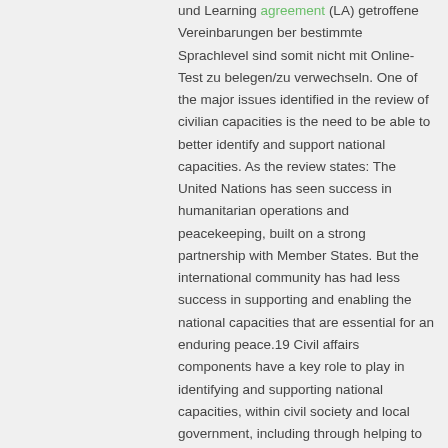und Learning agreement (LA) getroffene Vereinbarungen ber bestimmte Sprachlevel sind somit nicht mit Online-Test zu belegen/zu verwechseln. One of the major issues identified in the review of civilian capacities is the need to be able to better identify and support national capacities. As the review states: The United Nations has seen success in humanitarian operations and peacekeeping, built on a strong partnership with Member States. But the international community has had less success in supporting and enabling the national capacities that are essential for an enduring peace.19 Civil affairs components have a key role to play in identifying and supporting national capacities, within civil society and local government, including through helping to ensure that voices from the local level are heard in nationally led peacebuilding processes (link). If you have a garage that sits on the boundary of your property or if your home is walled, then these features create party walls. Step 3 – If you don't have written agreement or